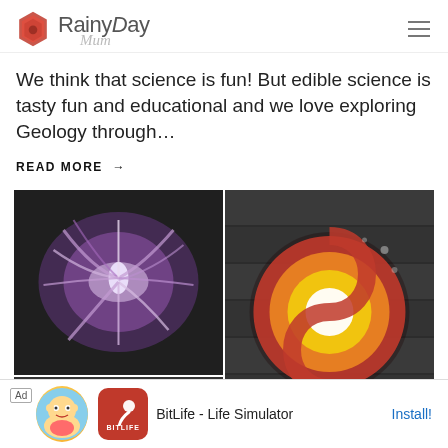Rainy Day Mum
We think that science is fun! But edible science is tasty fun and educational and we love exploring Geology through…
READ MORE →
[Figure (photo): Two side-by-side photos on dark/black and white backgrounds: left shows a purple/violet colorful drawing on black paper resembling feathers or flames, right shows a yin-yang shaped swirl with red, orange, yellow, and white colors on a dark wooden background. Bottom row shows a partial third image with warm yellow/orange tones.]
[Figure (screenshot): Ad banner: BitLife - Life Simulator app advertisement with cartoon character, red app icon with sperm symbol, and Install button]